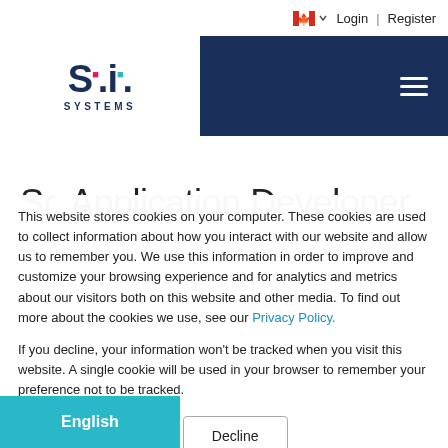Login | Register
[Figure (logo): S.I. Systems logo — blue S.I. text with pink dots, white background, on dark navy navigation bar]
Sr. Application Developer
This website stores cookies on your computer. These cookies are used to collect information about how you interact with our website and allow us to remember you. We use this information in order to improve and customize your browsing experience and for analytics and metrics about our visitors both on this website and other media. To find out more about the cookies we use, see our Privacy Policy.
If you decline, your information won't be tracked when you visit this website. A single cookie will be used in your browser to remember your preference not to be tracked.
Accept  Decline